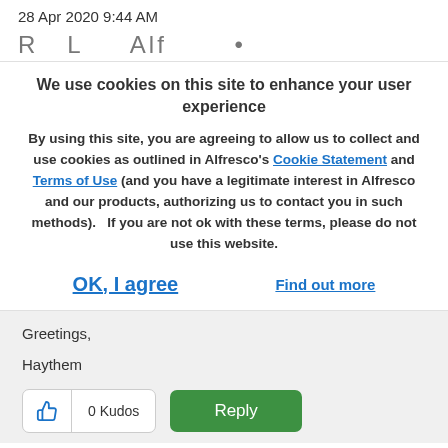28 Apr 2020 9:44 AM
[Figure (screenshot): Partially visible text line, clipped at top]
We use cookies on this site to enhance your user experience
By using this site, you are agreeing to allow us to collect and use cookies as outlined in Alfresco's Cookie Statement and Terms of Use (and you have a legitimate interest in Alfresco and our products, authorizing us to contact you in such methods).   If you are not ok with these terms, please do not use this website.
OK, I agree
Find out more
Greetings,
Haythem
0 Kudos
Reply